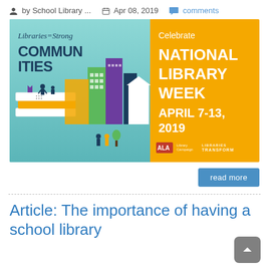by School Library ...  Apr 08, 2019  comments
[Figure (illustration): National Library Week promotional banner. Left half: teal/blue background with 'Libraries=Strong COMMUNITIES' text and illustrated cityscape with books, buildings, and silhouetted people. Right half: orange background with 'Celebrate NATIONAL LIBRARY WEEK APRIL 7-13, 2019' text and ALA/Libraries Transform logos.]
read more
Article: The importance of having a school library